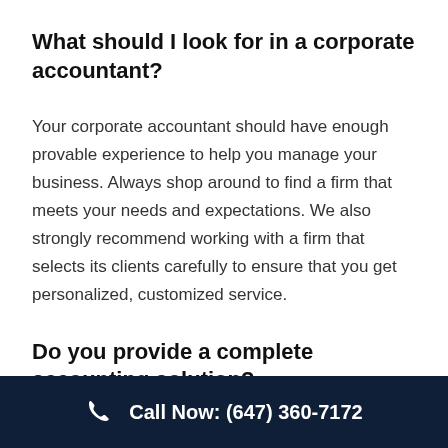What should I look for in a corporate accountant?
Your corporate accountant should have enough provable experience to help you manage your business. Always shop around to find a firm that meets your needs and expectations. We also strongly recommend working with a firm that selects its clients carefully to ensure that you get personalized, customized service.
Do you provide a complete accounting solution?
Call Now: (647) 360-7172